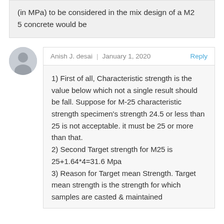(in MPa) to be considered in the mix design of a M25 concrete would be
Anish J. desai | January 1, 2020  Reply
1) First of all, Characteristic strength is the value below which not a single result should be fall. Suppose for M-25 characteristic strength specimen's strength 24.5 or less than 25 is not acceptable. it must be 25 or more than that.
2) Second Target strength for M25 is 25+1.64*4=31.6 Mpa
3) Reason for Target mean Strength. Target mean strength is the strength for which samples are casted & maintained